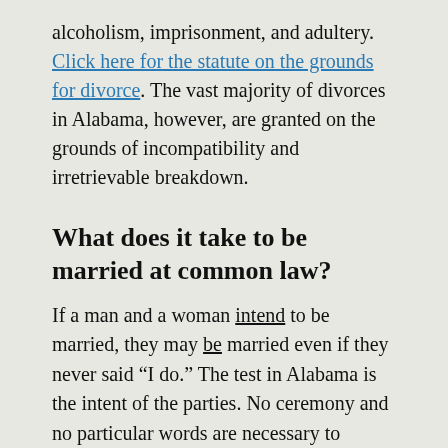alcoholism, imprisonment, and adultery. Click here for the statute on the grounds for divorce. The vast majority of divorces in Alabama, however, are granted on the grounds of incompatibility and irretrievable breakdown.
What does it take to be married at common law?
If a man and a woman intend to be married, they may be married even if they never said “I do.” The test in Alabama is the intent of the parties. No ceremony and no particular words are necessary to constitute a valid common-law marriage.